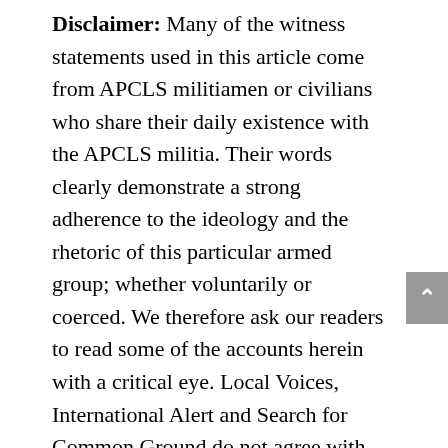Disclaimer: Many of the witness statements used in this article come from APCLS militiamen or civilians who share their daily existence with the APCLS militia. Their words clearly demonstrate a strong adherence to the ideology and the rhetoric of this particular armed group; whether voluntarily or coerced. We therefore ask our readers to read some of the accounts herein with a critical eye. Local Voices, International Alert and Search for Common Ground do not agree with nor share the opinions held by the different people who speak out in this article. However it seems important to us to publish these statements in order to better grasp the sometimes radical, and extreme, points of view, positions and